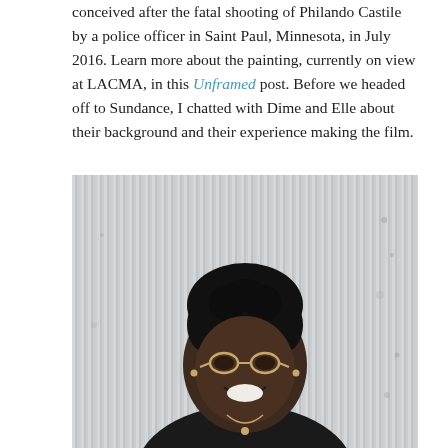conceived after the fatal shooting of Philando Castile by a police officer in Saint Paul, Minnesota, in July 2016. Learn more about the painting, currently on view at LACMA, in this Unframed post. Before we headed off to Sundance, I chatted with Dime and Elle about their background and their experience making the film.
[Figure (photo): Portrait photo of a smiling Black woman with short natural hair, gold-rimmed glasses, black shirt, and a delicate gold necklace, photographed against a corrugated metal wall background.]